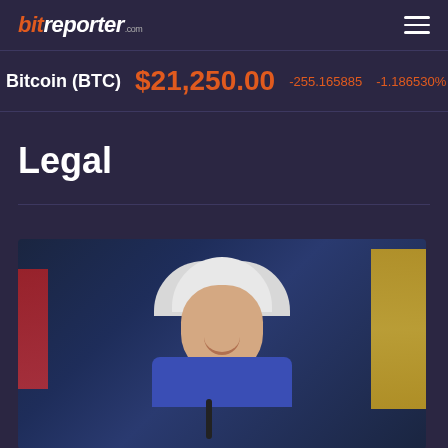bitreporter.com
Bitcoin (BTC)  $21,250.00  -255.165885  -1.186530%  24h
Legal
[Figure (photo): Photograph of a smiling older woman with white hair wearing a blue jacket, in front of flags and a microphone — likely Janet Yellen or similar public official]